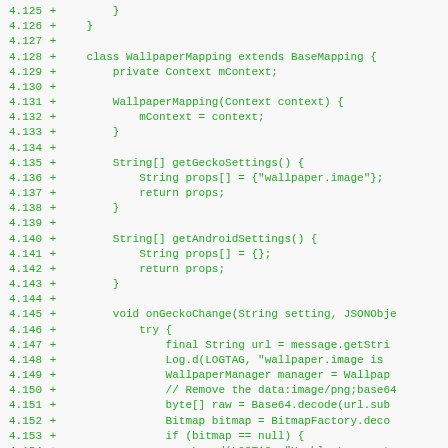[Figure (screenshot): Code diff view showing Java source lines 4.125–4.157, added lines marked with '+', displaying a WallpaperMapping class extending BaseMapping with methods getGeckoSettings, getAndroidSettings, and onGeckoChange.]